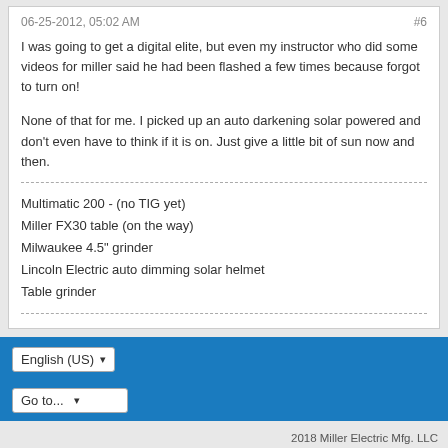06-25-2012, 05:02 AM	#6
I was going to get a digital elite, but even my instructor who did some videos for miller said he had been flashed a few times because forgot to turn on!

None of that for me. I picked up an auto darkening solar powered and don't even have to think if it is on. Just give a little bit of sun now and then.
Multimatic 200 - (no TIG yet)
Miller FX30 table (on the way)
Milwaukee 4.5" grinder
Lincoln Electric auto dimming solar helmet
Table grinder
English (US) | Go to... | 2018 Miller Electric Mfg. LLC Powered by vBulletin® Version 5.6.9 Copyright © 2022 vBulletin Solutions, Inc. All rights reserved. All times are GMT-6. This page was generated at 01:16 PM.